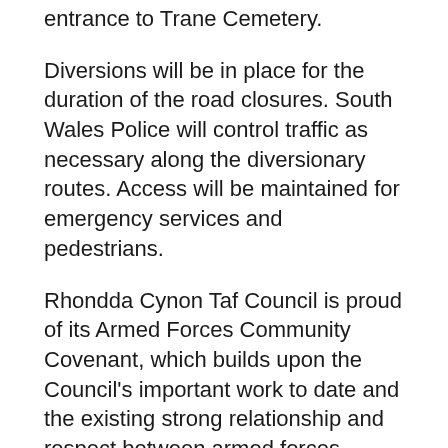entrance to Trane Cemetery.
Diversions will be in place for the duration of the road closures. South Wales Police will control traffic as necessary along the diversionary routes. Access will be maintained for emergency services and pedestrians.
Rhondda Cynon Taf Council is proud of its Armed Forces Community Covenant, which builds upon the Council's important work to date and the existing strong relationship and respect between armed forces personnel and local communities.
Rhondda Cynon Taf Council was recently the first Local Authority in Wales to also sign the Armed Forces Corporate Covenant - a voluntary pledge made by groups and organisations wishing to demonstrate their concrete support for the Armed Forces community.
It complements the Council's Armed Forces Covenant and proudly sits alongside the Council's Community Covenant, demonstrating its commitment to the armed...